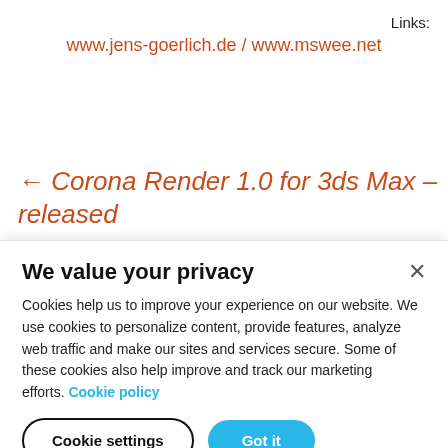Links:
www.jens-goerlich.de / www.mswee.net
← Corona Render 1.0 for 3ds Max – released
We value your privacy
Cookies help us to improve your experience on our website. We use cookies to personalize content, provide features, analyze web traffic and make our sites and services secure. Some of these cookies also help improve and track our marketing efforts. Cookie policy
Cookie settings
Got it